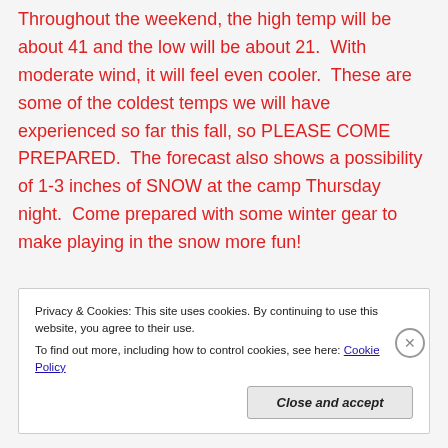Throughout the weekend, the high temp will be about 41 and the low will be about 21.  With moderate wind, it will feel even cooler.  These are some of the coldest temps we will have experienced so far this fall, so PLEASE COME PREPARED.  The forecast also shows a possibility of 1-3 inches of SNOW at the camp Thursday night.  Come prepared with some winter gear to make playing in the snow more fun!
Privacy & Cookies: This site uses cookies. By continuing to use this website, you agree to their use. To find out more, including how to control cookies, see here: Cookie Policy